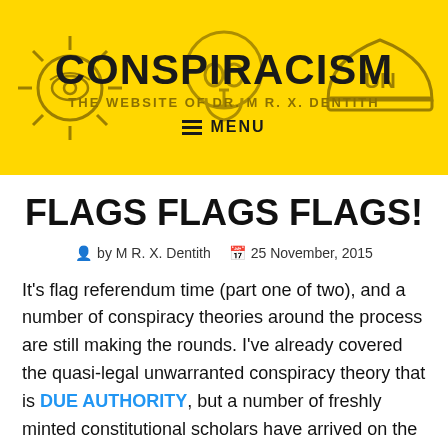CONSPIRACISM — THE WEBSITE OF DR. M R. X. DENTITH
FLAGS FLAGS FLAGS!
by M R. X. Dentith   25 November, 2015
It's flag referendum time (part one of two), and a number of conspiracy theories around the process are still making the rounds. I've already covered the quasi-legal unwarranted conspiracy theory that is DUE AUTHORITY, but a number of freshly minted constitutional scholars have arrived on the scene, with theories conspiratorial. Let's take a gander.